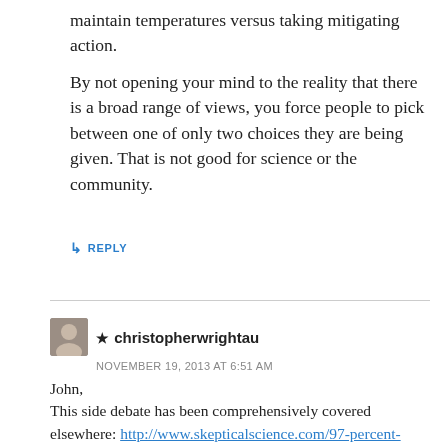maintain temperatures versus taking mitigating action.
By not opening your mind to the reality that there is a broad range of views, you force people to pick between one of only two choices they are being given. That is not good for science or the community.
↳ REPLY
★ christopherwrightau
NOVEMBER 19, 2013 AT 6:51 AM
John,
This side debate has been comprehensively covered elsewhere: http://www.skepticalscience.com/97-percent-consensus-discredited.htm http://wottsupwiththatblog.wordpress.com/2013/09/10/watt-about-monckton-and-the-97/